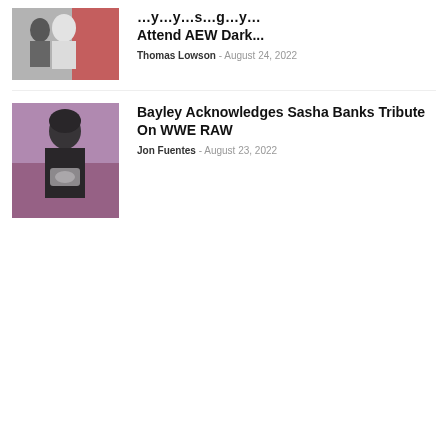[Figure (photo): Photo of wrestlers at AEW event, red and white background]
Attend AEW Dark...
Thomas Lowson - August 24, 2022
[Figure (photo): Photo of Bayley wrestler in ring gear, colorful background]
Bayley Acknowledges Sasha Banks Tribute On WWE RAW
Jon Fuentes - August 23, 2022